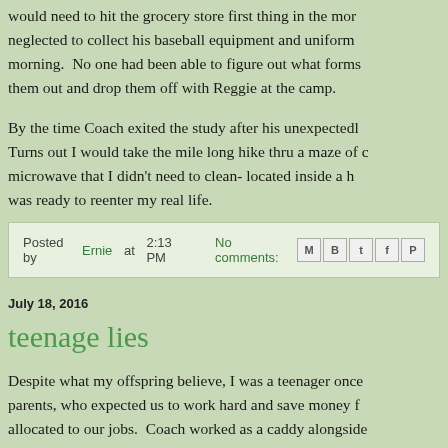would need to hit the grocery store first thing in the mor... neglected to collect his baseball equipment and uniform... morning. No one had been able to figure out what forms... them out and drop them off with Reggie at the camp.
By the time Coach exited the study after his unexpectedl... Turns out I would take the mile long hike thru a maze of c... microwave that I didn't need to clean- located inside a h... was ready to reenter my real life.
Posted by Ernie at 2:13 PM   No comments:
July 18, 2016
teenage lies
Despite what my offspring believe, I was a teenager once... parents, who expected us to work hard and save money f... allocated to our jobs. Coach worked as a caddy alongside